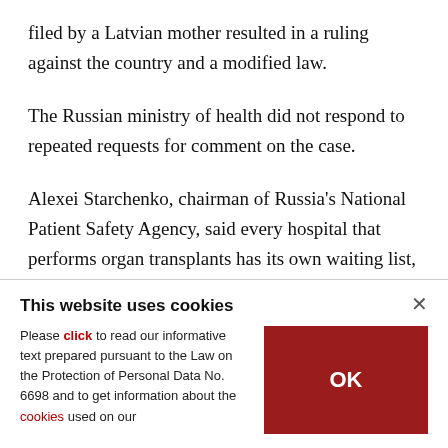filed by a Latvian mother resulted in a ruling against the country and a modified law.
The Russian ministry of health did not respond to repeated requests for comment on the case.
Alexei Starchenko, chairman of Russia's National Patient Safety Agency, said every hospital that performs organ transplants has its own waiting list, describing the system as "corrupt" since there is
This website uses cookies
Please click to read our informative text prepared pursuant to the Law on the Protection of Personal Data No. 6698 and to get information about the cookies used on our